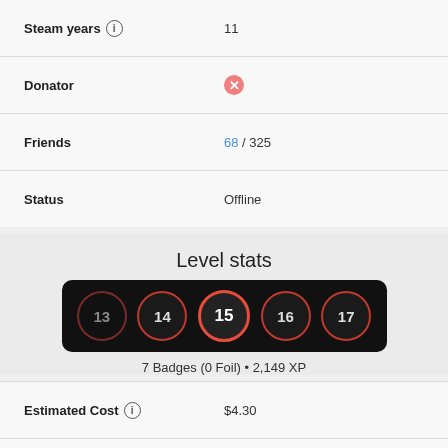| Field | Value |
| --- | --- |
| Steam years ⓘ | 11 |
| Donator | ✗ |
| Friends | 68 / 325 |
| Status | Offline |
Level stats
[Figure (infographic): Level badge bar showing levels 13, 14, 15 (active/highlighted), 16, 17 in circular badges on a dark background]
7 Badges (0 Foil) • 2,149 XP
| Field | Value |
| --- | --- |
| Estimated Cost ⓘ | $4.30 |
| Next Level Cost ⓘ | $0.20 |
| World Rank | #104,464 (4.9%) |